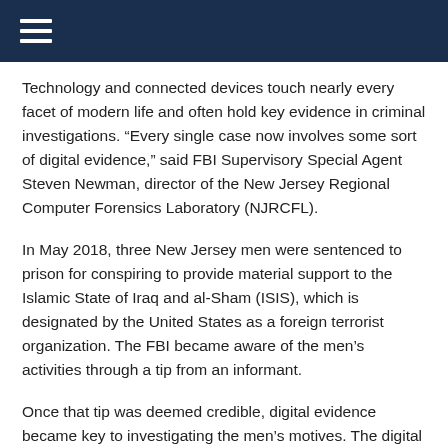Technology and connected devices touch nearly every facet of modern life and often hold key evidence in criminal investigations. “Every single case now involves some sort of digital evidence,” said FBI Supervisory Special Agent Steven Newman, director of the New Jersey Regional Computer Forensics Laboratory (NJRCFL).
In May 2018, three New Jersey men were sentenced to prison for conspiring to provide material support to the Islamic State of Iraq and al-Sham (ISIS), which is designated by the United States as a foreign terrorist organization. The FBI became aware of the men’s activities through a tip from an informant.
Once that tip was deemed credible, digital evidence became key to investigating the men’s motives. The digital evidence left on the suspects’ computers and phones was